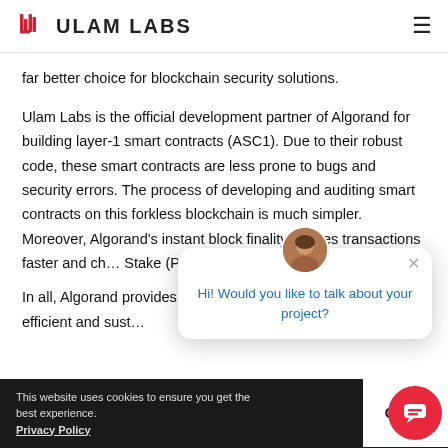ULAM LABS
far better choice for blockchain security solutions.
Ulam Labs is the official development partner of Algorand for building layer-1 smart contracts (ASC1). Due to their robust code, these smart contracts are less prone to bugs and security errors. The process of developing and auditing smart contracts on this forkless blockchain is much simpler. Moreover, Algorand's instant block finality makes transactions faster and cheaper. Its Pure Proof of Stake (PoS) consensus me…
In all, Algorand provides the foundation for simple, cost-efficient and sustainable blockchain applications of th…
[Figure (screenshot): Chat popup with avatar photo of a woman, close button (×), and blue text: 'Hi! Would you like to talk about your project?']
This website uses cookies to ensure you get the best experience. Privacy Policy | Got it!